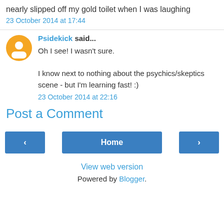nearly slipped off my gold toilet when I was laughing
23 October 2014 at 17:44
Psidekick said...
Oh I see! I wasn't sure.

I know next to nothing about the psychics/skeptics scene - but I'm learning fast! :)
23 October 2014 at 22:16
Post a Comment
< Home >
View web version
Powered by Blogger.